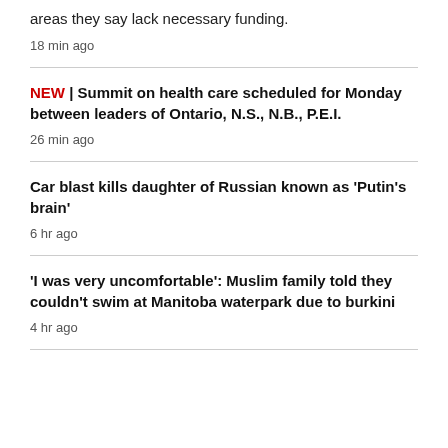areas they say lack necessary funding.
18 min ago
NEW | Summit on health care scheduled for Monday between leaders of Ontario, N.S., N.B., P.E.I.
26 min ago
Car blast kills daughter of Russian known as 'Putin's brain'
6 hr ago
'I was very uncomfortable': Muslim family told they couldn't swim at Manitoba waterpark due to burkini
4 hr ago